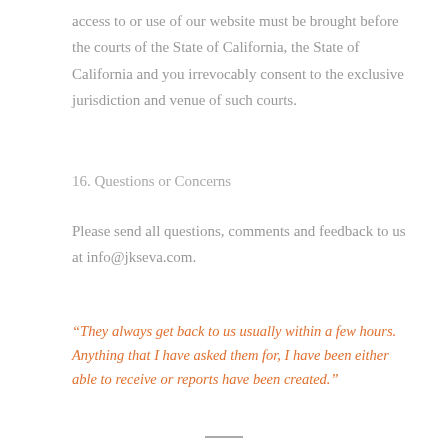access to or use of our website must be brought before the courts of the State of California, the State of California and you irrevocably consent to the exclusive jurisdiction and venue of such courts.
16. Questions or Concerns
Please send all questions, comments and feedback to us at info@jkseva.com.
“They always get back to us usually within a few hours. Anything that I have asked them for, I have been either able to receive or reports have been created.”